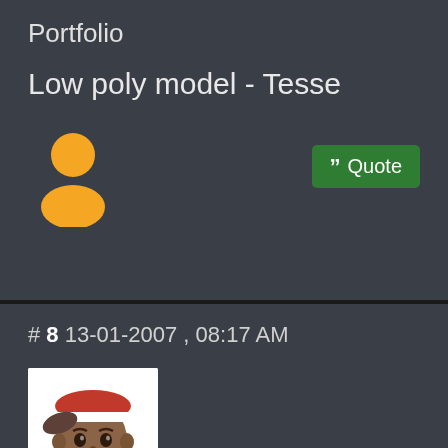Portfolio
Low poly model - Tesse
[Figure (illustration): Generic user avatar icon in yellow/gold color showing a silhouette of a person (head circle and shoulder shape)]
Quote button
# 8 13-01-2007 , 08:17 AM
[Figure (illustration): Forum user avatar: illustrated character with dark skin, red and white hat/cap, white hoodie, stylized anime/cartoon art style]
99GsTurbo